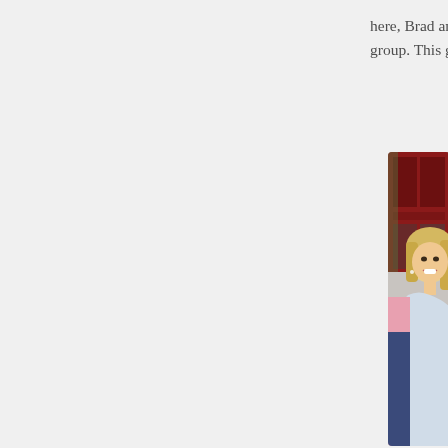here, Brad and I have a set of 3 other couples that w... group. This group will never be the same with the o...
[Figure (photo): A smiling blonde woman in a light blue sleeveless top standing in front of a red door/window frame. Another person partially visible to the left wearing pink and navy.]